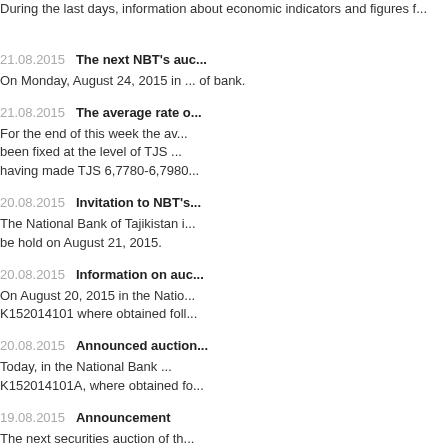During the last days, information about economic indicators and figures f...
21.08.2015   The next NBT's auc...
On Monday, August 24, 2015 in ... of bank.
21.08.2015   The average rate o...
For the end of this week the av... been fixed at the level of TJS ... having made TJS 6,7780-6,7980...
20.08.2015   Invitation to NBT's...
The National Bank of Tajikistan i... be hold on August 21, 2015.
20.08.2015   Information on auc...
On August 20, 2015 in the Natio... K152014101 where obtained foll...
20.08.2015   Announced auction...
Today, in the National Bank ... K152014101A, where obtained fo...
19.08.2015   Announcement
The next securities auction of th... 2015.